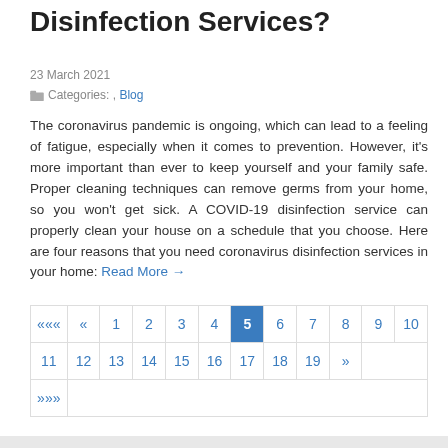Disinfection Services?
23 March 2021
Categories: , Blog
The coronavirus pandemic is ongoing, which can lead to a feeling of fatigue, especially when it comes to prevention. However, it's more important than ever to keep yourself and your family safe. Proper cleaning techniques can remove germs from your home, so you won't get sick. A COVID-19 disinfection service can properly clean your house on a schedule that you choose. Here are four reasons that you need coronavirus disinfection services in your home: Read More →
| ««« | « | 1 | 2 | 3 | 4 | 5 | 6 | 7 | 8 | 9 | 10 |
| 11 | 12 | 13 | 14 | 15 | 16 | 17 | 18 | 19 | » |
| »»» |